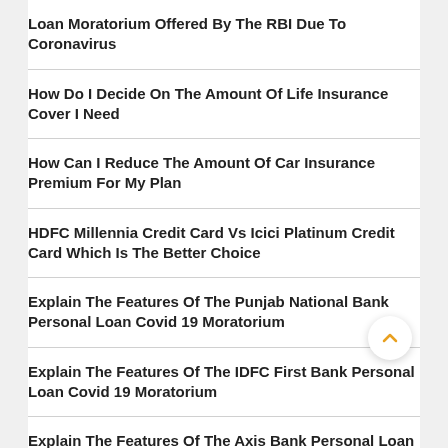Loan Moratorium Offered By The RBI Due To Coronavirus
How Do I Decide On The Amount Of Life Insurance Cover I Need
How Can I Reduce The Amount Of Car Insurance Premium For My Plan
HDFC Millennia Credit Card Vs Icici Platinum Credit Card Which Is The Better Choice
Explain The Features Of The Punjab National Bank Personal Loan Covid 19 Moratorium
Explain The Features Of The IDFC First Bank Personal Loan Covid 19 Moratorium
Explain The Features Of The Axis Bank Personal Loan Restructuring For Covid 19
Explain The Features And Working Of The SBI Personal Loan Restructuring For Covid19